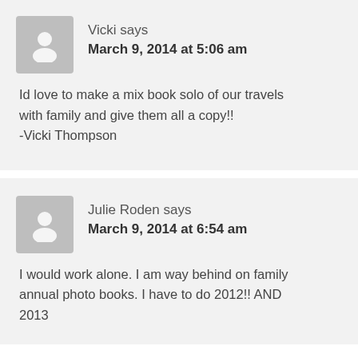Vicki says
March 9, 2014 at 5:06 am
Id love to make a mix book solo of our travels with family and give them all a copy!!
-Vicki Thompson
Julie Roden says
March 9, 2014 at 6:54 am
I would work alone. I am way behind on family annual photo books. I have to do 2012!! AND 2013